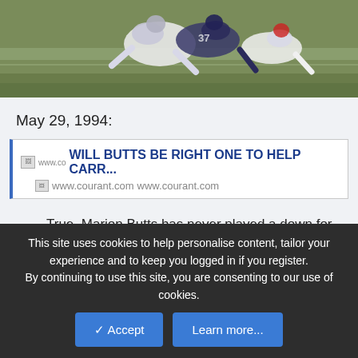[Figure (photo): Football game action photo showing players on field, one player being tackled, green grass field background]
May 29, 1994:
WILL BUTTS BE RIGHT ONE TO HELP CARR...
www.courant.com www.courant.com
True, Marion Butts has never played a down for Parcells or the Patriots. But as the coach always tells his players, "I go by what I see." And what he has seen of Butts in a Chargers uniform these past five seasons made Parcells want him like a hot meal on a cold day.
This site uses cookies to help personalise content, tailor your experience and to keep you logged in if you register.
By continuing to use this site, you are consenting to our use of cookies.